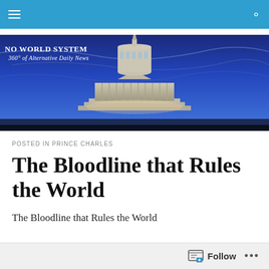NO WORLD SYSTEM — 360° of Alternative Daily News
[Figure (photo): US Capitol building at dusk with blue sky backdrop, site banner image with text 'NO WORLD SYSTEM – 360° of Alternative Daily News']
POSTED IN PRINCE CHARLES
The Bloodline that Rules the World
The Bloodline that Rules the World